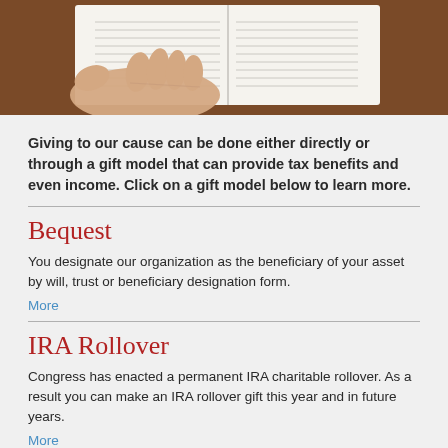[Figure (photo): A person's hand holding an open book, viewed from above, against a dark wooden surface.]
Giving to our cause can be done either directly or through a gift model that can provide tax benefits and even income. Click on a gift model below to learn more.
Bequest
You designate our organization as the beneficiary of your asset by will, trust or beneficiary designation form.
More
IRA Rollover
Congress has enacted a permanent IRA charitable rollover. As a result you can make an IRA rollover gift this year and in future years.
More